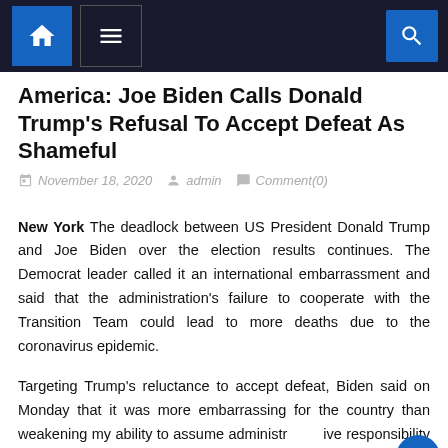Navigation bar with home icon, menu icon, and search icon
America: Joe Biden Calls Donald Trump's Refusal To Accept Defeat As Shameful
November 18, 2020   admin   Comment(0)
New York The deadlock between US President Donald Trump and Joe Biden over the election results continues. The Democrat leader called it an international embarrassment and said that the administration's failure to cooperate with the Transition Team could lead to more deaths due to the coronavirus epidemic.
Targeting Trump's reluctance to accept defeat, Biden said on Monday that it was more embarrassing for the country than weakening my ability to assume administrative responsibility on his behalf. Significantly, Trump first